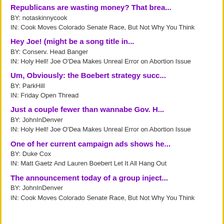Republicans are wasting money? That brea...
BY: notaskinnycook
IN: Cook Moves Colorado Senate Race, But Not Why You Think
Hey Joe!  (might be a song title in...
BY: Conserv. Head Banger
IN: Holy Hell! Joe O'Dea Makes Unreal Error on Abortion Issue
Um, Obviously: the Boebert strategy succ...
BY: ParkHill
IN: Friday Open Thread
Just a couple fewer than wannabe Gov. H...
BY: JohnInDenver
IN: Holy Hell! Joe O'Dea Makes Unreal Error on Abortion Issue
One of her current campaign ads shows he...
BY: Duke Cox
IN: Matt Gaetz And Lauren Boebert Let It All Hang Out
The announcement today of a group inject...
BY: JohnInDenver
IN: Cook Moves Colorado Senate Race, But Not Why You Think